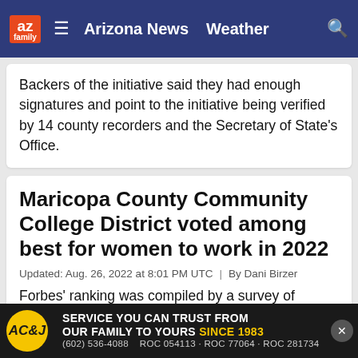az family | ≡ | Arizona News | Weather | 🔍
Backers of the initiative said they had enough signatures and point to the initiative being verified by 14 county recorders and the Secretary of State's Office.
Maricopa County Community College District voted among best for women to work in 2022
Updated: Aug. 26, 2022 at 8:01 PM UTC  |  By Dani Birzer
Forbes' ranking was compiled by a survey of 50,000 Americans, including 30,000 women and 20,000 men, who work for businesses with a minimum of 1,000 employees.
Judge tosses Lake, Finchem lawsuit to s…
[Figure (advertisement): ACJ air conditioning plumbing heating ad: SERVICE YOU CAN TRUST FROM OUR FAMILY TO YOURS SINCE 1983. (602) 536-4088  ROC 054113 · ROC 77064 · ROC 281734]